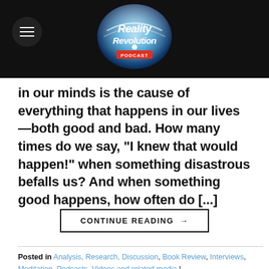Reality Revolution Podcast
in our minds is the cause of everything that happens in our lives—both good and bad. How many times do we say, “I knew that would happen!” when something disastrous befalls us? And when something good happens, how often do [...]
CONTINUE READING →
Posted in Analysis, Research, Discussion, Book Review, Interviews, Meditation, Podcasts, Videos and related media | Tagged abraham hicks, abraham hicks wondeful, affirming the wondeful, brian scott, donald curtis, ernest homes, expectancy, god, isnt it wonderful, jentezen franklin, joseph murphy, law of attraction, Manifestation, mental treatment, neville goddard, new thought, orison swett marden, positive affirmations, reality revolution, science of mind, something wondeful, something